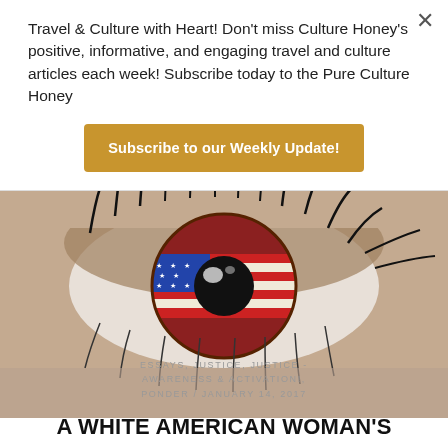Travel & Culture with Heart! Don't miss Culture Honey's positive, informative, and engaging travel and culture articles each week! Subscribe today to the Pure Culture Honey
Subscribe to our Weekly Update!
[Figure (photo): Close-up photograph of a human eye with an American flag reflection in the iris, heavy eye makeup and mascara visible]
ESSAYS, JUSTICE, JUSTICE - AWARENESS & ACTIVATION!, PONDER / JANUARY 14, 2017
A WHITE AMERICAN WOMAN'S